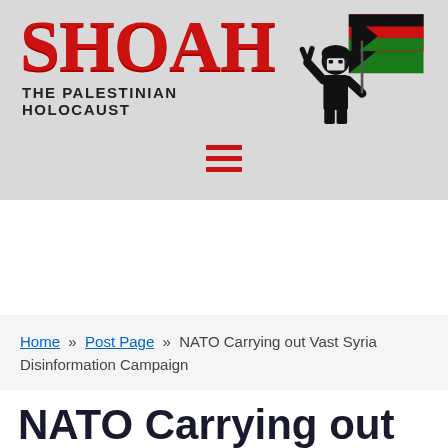[Figure (logo): SHOAH - THE PALESTINIAN HOLOCAUST logo with red dripping text and Palestinian figure holding flag]
[Figure (infographic): Hamburger menu icon with three red horizontal bars]
Home » Post Page » NATO Carrying out Vast Syria Disinformation Campaign
NATO Carrying out Vast